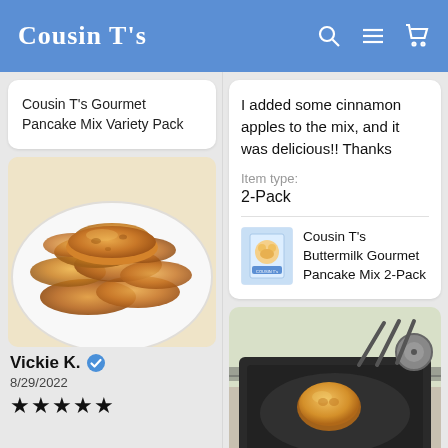Cousin Ts
Cousin T's Gourmet Pancake Mix Variety Pack
I added some cinnamon apples to the mix, and it was delicious!! Thanks
Item type:
2-Pack
[Figure (photo): A plate of golden-brown fluffy pancakes stacked on a white plate]
Cousin T's Buttermilk Gourmet Pancake Mix 2-Pack
Vickie K. ✔  8/29/2022  ★★★★★
[Figure (photo): A single pancake cooking on a dark square griddle on a gas stovetop]